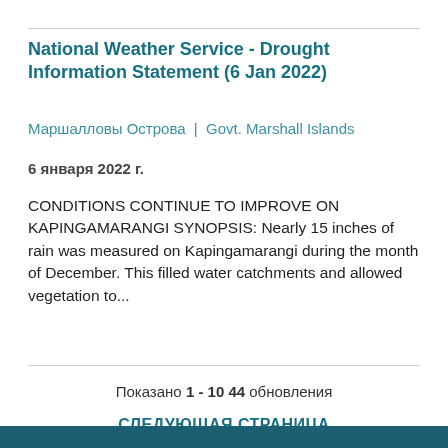National Weather Service - Drought Information Statement (6 Jan 2022)
Маршалловы Острова  |  Govt. Marshall Islands
6 января 2022 г.
CONDITIONS CONTINUE TO IMPROVE ON KAPINGAMARANGI SYNOPSIS: Nearly 15 inches of rain was measured on Kapingamarangi during the month of December. This filled water catchments and allowed vegetation to...
Показано 1 - 10 44 обновления
СЛЕДУЮЩАЯ СТРАНИЦА